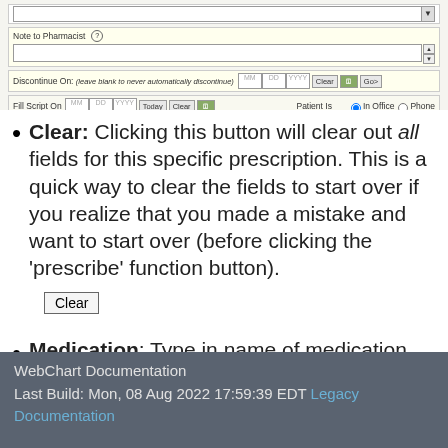[Figure (screenshot): A form UI showing prescription fields: a dropdown row, Note to Pharmacist field, Discontinue On field with MM/DD/YYYY date inputs and Clear/Go buttons, and Fill Script On field with date inputs, Today/Clear buttons, and Patient Is radio buttons (In Office / Phone).]
Clear: Clicking this button will clear out all fields for this specific prescription. This is a quick way to clear the fields to start over if you realize that you made a mistake and want to start over (before clicking the 'prescribe' function button).
[Figure (screenshot): A Clear button UI element.]
Medication: Type in name of medication.
WebChart Documentation
Last Build: Mon, 08 Aug 2022 17:59:39 EDT Legacy Documentation